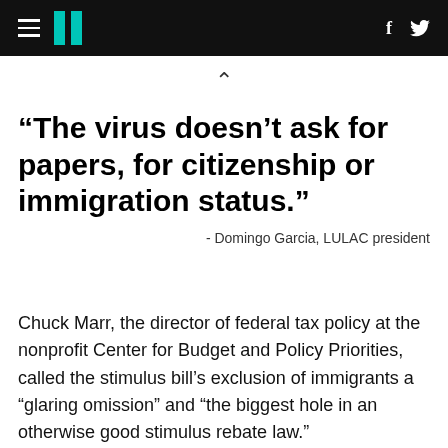HuffPost navigation header with hamburger menu, logo, Facebook and Twitter icons
“The virus doesn’t ask for papers, for citizenship or immigration status.”
- Domingo Garcia, LULAC president
Chuck Marr, the director of federal tax policy at the nonprofit Center for Budget and Policy Priorities, called the stimulus bill’s exclusion of immigrants a “glaring omission” and “the biggest hole in an otherwise good stimulus rebate law.”